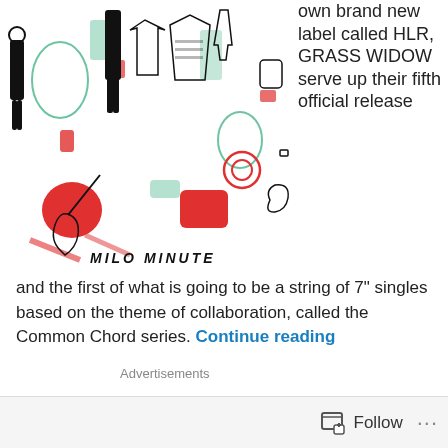[Figure (illustration): Colorful illustrated collage of clothing items, accessories, musical instruments, bags, and figures in red, black, and teal/green colors, with text 'MILO MINUTE' at the bottom]
own brand new label called HLR, GRASS WIDOW serve up their fifth official release
and the first of what is going to be a string of 7” singles based on the theme of collaboration, called the Common Chord series. Continue reading
Advertisements
Follow ...